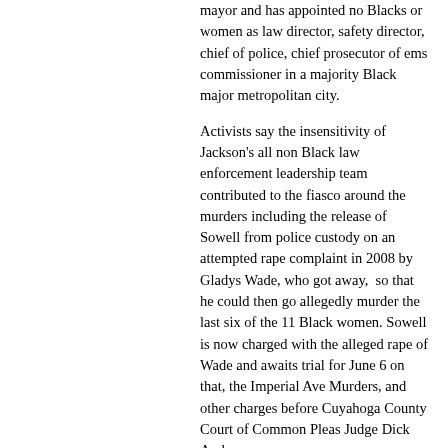mayor and has appointed no Blacks or women as law director, safety director, chief of police, chief prosecutor of ems commissioner in a majority Black major metropolitan city.
Activists say the insensitivity of Jackson's all non Black law enforcement leadership team contributed to the fiasco around the murders including the release of Sowell from police custody on an attempted rape complaint in 2008 by Gladys Wade, who got away,  so that he could then go allegedly murder the last six of the 11 Black women. Sowell is now charged with the alleged rape of Wade and awaits trial for June 6 on that, the Imperial Ave Murders, and other charges before Cuyahoga County Court of Common Pleas Judge Dick Ambrose.
According to Coleman, when she moved to dismiss the case before Comstock for a lack of jurisdiction because it belonged in the mayor's court, he stole her bond without a bond forfeiture hearing, issued a warrant and then falsified public records and lied to say she had an arraignment and a pretrial, and had made a plea. She said she was arrested last July with Jackson's help and hauled before Comstock and that he threatened her saying he objected